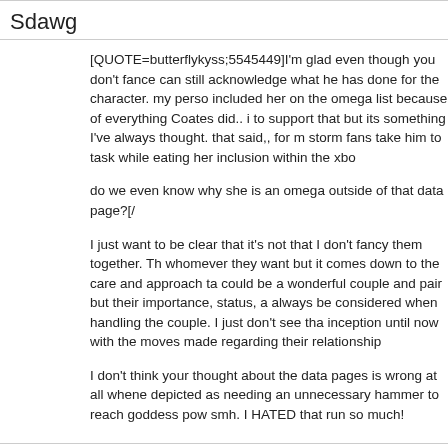Sdawg
[QUOTE=butterflykyss;5545449]I'm glad even though you don't fance can still acknowledge what he has done for the character. my perso included her on the omega list because of everything Coates did.. i to support that but its something I've always thought. that said,, for m storm fans take him to task while eating her inclusion within the xbo
do we even know why she is an omega outside of that data page?[/
I just want to be clear that it's not that I don't fancy them together. Th whomever they want but it comes down to the care and approach ta could be a wonderful couple and pair but their importance, status, a always be considered when handling the couple. I just don't see tha inception until now with the moves made regarding their relationship
I don't think your thought about the data pages is wrong at all whene depicted as needing an unnecessary hammer to reach goddess pow smh. I HATED that run so much!
butterflykyss
[QUOTE=Sdawg;5545455]I just want to be clear that it's not that I d They could put her with whomever they want but it comes down to